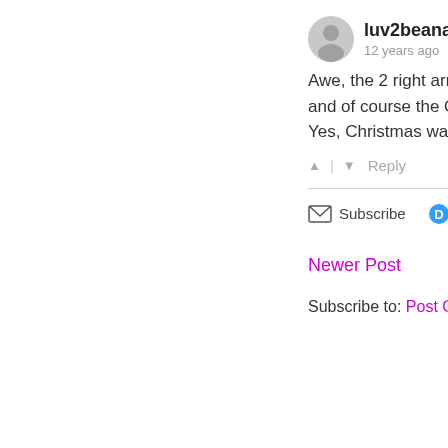[Figure (illustration): User avatar icon — grey circle with person silhouette]
luv2beanana
12 years ago
Awe, the 2 right armed fi and of course the Otto co Yes, Christmas was mag
▲ | ▼  Reply
✉ Subscribe   🔵 Ad
Newer Post
Subscribe to: Post Comme